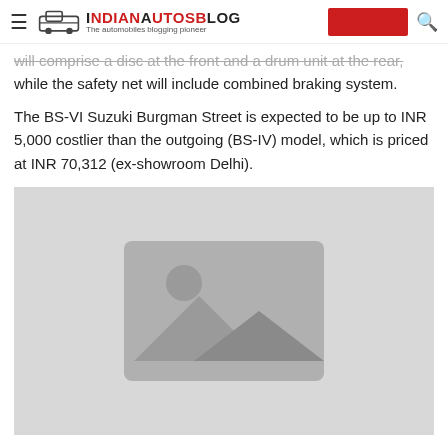IndianAutosBlog - The automobiles blogging pioneer
will comprise a disc at the front and a drum unit at the rear, while the safety net will include combined braking system.
The BS-VI Suzuki Burgman Street is expected to be up to INR 5,000 costlier than the outgoing (BS-IV) model, which is priced at INR 70,312 (ex-showroom Delhi).
[Figure (photo): Placeholder image with mountains and sun icon on grey background]